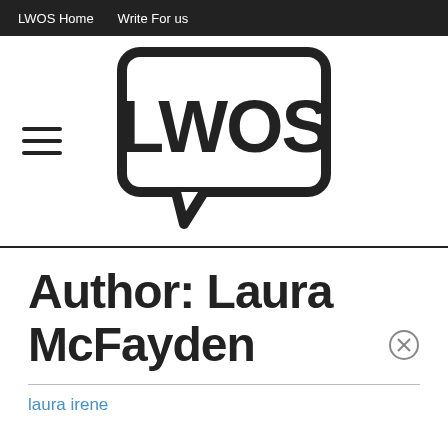LWOS Home   Write For us
[Figure (logo): LWOS logo: speech bubble containing bold text 'LWOS' with a hamburger menu icon to the left]
Author: Laura McFayden
laura irene